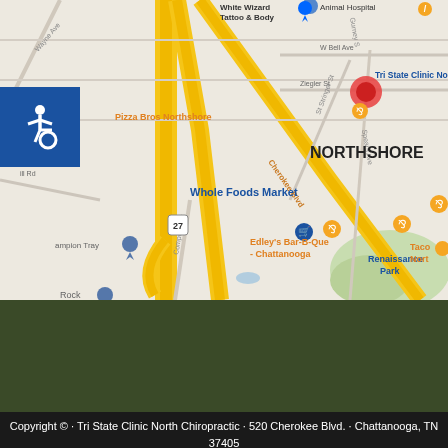[Figure (map): Google Maps screenshot showing the Northshore area of Chattanooga, TN. The map shows Cherokee Blvd, route 27, and nearby landmarks including Tri State Clinic North, Pizza Bros Northshore, Whole Foods Market, Edley's Bar-B-Que Chattanooga, Renaissance Park, and Taco (North). A blue wheelchair accessibility icon is overlaid on the top-left corner of the map.]
Copyright © · Tri State Clinic North Chiropractic · 520 Cherokee Blvd. · Chattanooga, TN 37405